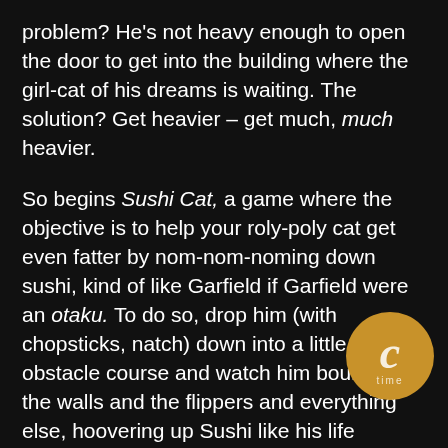problem? He's not heavy enough to open the door to get into the building where the girl-cat of his dreams is waiting. The solution? Get heavier – get much, much heavier.
So begins Sushi Cat, a game where the objective is to help your roly-poly cat get even fatter by nom-nom-noming down sushi, kind of like Garfield if Garfield were an otaku. To do so, drop him (with chopsticks, natch) down into a little obstacle course and watch him bounce off the walls and the flippers and everything else, hoovering up Sushi like his life depends on it.
And that's it. It's very, very simple, and ends up feeling like a cross between a pachinko machine and Peggle, but there's something just very … compelling about it. Maybe it's the sounds that Sushi Cat makes every time he snacks on some sushi. Maybe it's watching him bounce around the screen. Maybe it's how the screen
[Figure (logo): Gold circular watermark/logo with a stylized letter C and the text 'time' partially visible, positioned in the lower right corner overlapping the text.]